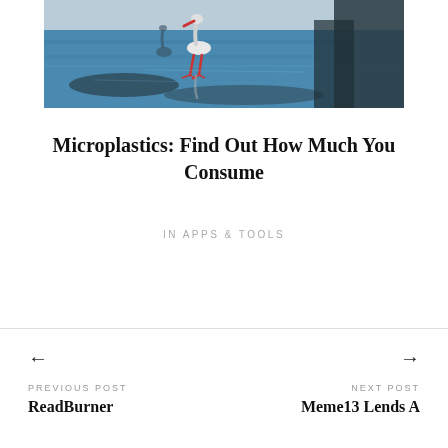[Figure (photo): A bird (flamingo-like) standing in shallow blue water, with reflections and dark shapes in background]
Microplastics: Find Out How Much You Consume
IN APPS & TOOLS
← PREVIOUS POST ReadBurner
→ NEXT POST Meme13 Lends A